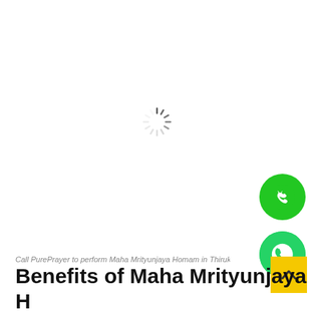[Figure (other): Loading spinner (circular progress indicator) in the center of the page]
Call PurePrayer to perform Maha Mrityunjaya Homam in Thirukkadaiyy...
Benefits of Maha Mrityunjaya H...
[Figure (other): Green circle phone call button on right side]
[Figure (other): Green WhatsApp circle button on right side]
[Figure (other): Yellow square scroll-to-top button with up arrow]